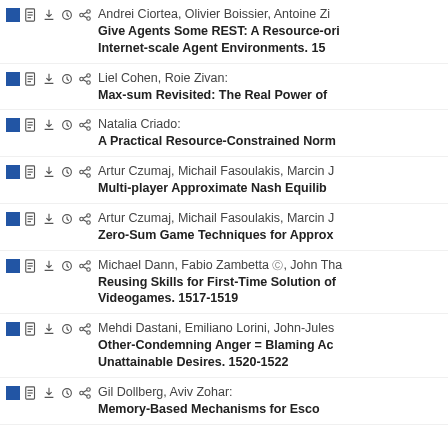Andrei Ciortea, Olivier Boissier, Antoine Zi... Give Agents Some REST: A Resource-oriented Architecture for Internet-scale Agent Environments. 15...
Liel Cohen, Roie Zivan: Max-sum Revisited: The Real Power of...
Natalia Criado: A Practical Resource-Constrained Norm...
Artur Czumaj, Michail Fasoulakis, Marcin J... Multi-player Approximate Nash Equilib...
Artur Czumaj, Michail Fasoulakis, Marcin J... Zero-Sum Game Techniques for Approx...
Michael Dann, Fabio Zambetta, John Tha... Reusing Skills for First-Time Solution of... Videogames. 1517-1519
Mehdi Dastani, Emiliano Lorini, John-Jules... Other-Condemning Anger = Blaming Ac... Unattainable Desires. 1520-1522
Gil Dollberg, Aviv Zohar: Memory-Based Mechanisms for Esco...